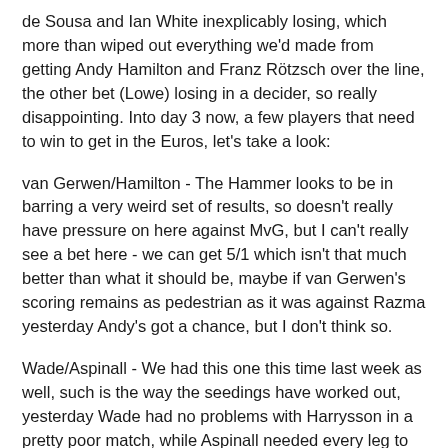de Sousa and Ian White inexplicably losing, which more than wiped out everything we'd made from getting Andy Hamilton and Franz Rötzsch over the line, the other bet (Lowe) losing in a decider, so really disappointing. Into day 3 now, a few players that need to win to get in the Euros, let's take a look:
van Gerwen/Hamilton - The Hammer looks to be in barring a very weird set of results, so doesn't really have pressure on here against MvG, but I can't really see a bet here - we can get 5/1 which isn't that much better than what it should be, maybe if van Gerwen's scoring remains as pedestrian as it was against Razma yesterday Andy's got a chance, but I don't think so.
Wade/Aspinall - We had this one this time last week as well, such is the way the seedings have worked out, yesterday Wade had no problems with Harrysson in a pretty poor match, while Aspinall needed every leg to take down Jason Lowe, who knows what'd have happened if Jason didn't miss those two darts to break at 4-4. Aspinall's the favourite, price is basically the same as last week, and so is the analysis, except here there's the added disincentive to take Wade